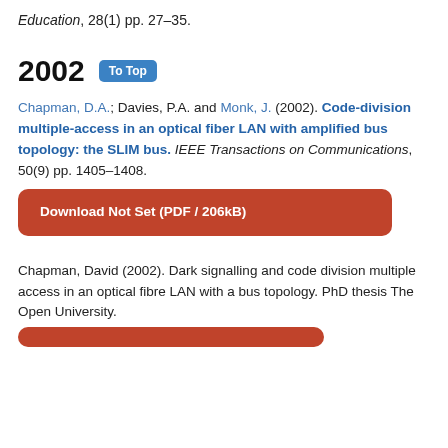Education, 28(1) pp. 27–35.
2002   To Top
Chapman, D.A.; Davies, P.A. and Monk, J. (2002). Code-division multiple-access in an optical fiber LAN with amplified bus topology: the SLIM bus. IEEE Transactions on Communications, 50(9) pp. 1405–1408.
Download Not Set (PDF / 206kB)
Chapman, David (2002). Dark signalling and code division multiple access in an optical fibre LAN with a bus topology. PhD thesis The Open University.